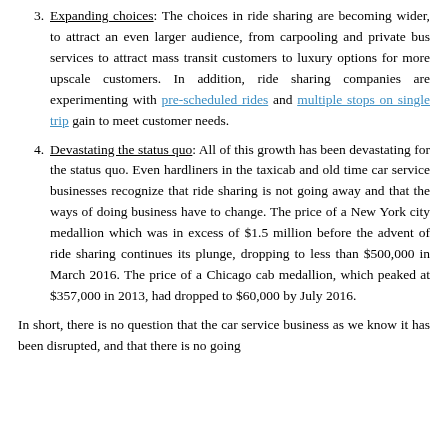3. Expanding choices: The choices in ride sharing are becoming wider, to attract an even larger audience, from carpooling and private bus services to attract mass transit customers to luxury options for more upscale customers. In addition, ride sharing companies are experimenting with pre-scheduled rides and multiple stops on single trip gain to meet customer needs.
4. Devastating the status quo: All of this growth has been devastating for the status quo. Even hardliners in the taxicab and old time car service businesses recognize that ride sharing is not going away and that the ways of doing business have to change. The price of a New York city medallion which was in excess of $1.5 million before the advent of ride sharing continues its plunge, dropping to less than $500,000 in March 2016. The price of a Chicago cab medallion, which peaked at $357,000 in 2013, had dropped to $60,000 by July 2016.
In short, there is no question that the car service business as we know it has been disrupted, and that there is no going